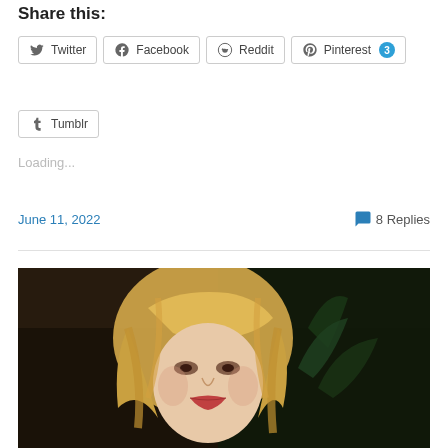Share this:
Twitter
Facebook
Reddit
Pinterest 3
Tumblr
Loading...
June 11, 2022
8 Replies
[Figure (photo): A blonde woman with wavy hair and dramatic makeup looking upward, with dark background and plants visible.]